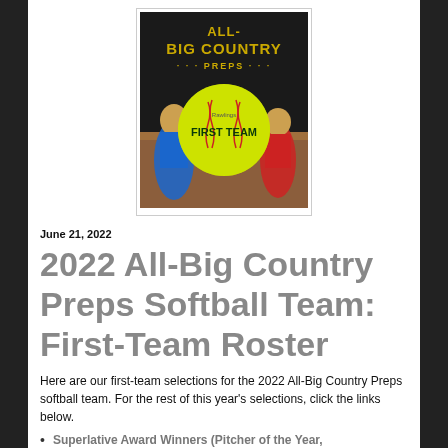[Figure (photo): All-Big Country Preps First Team softball promotional image with a yellow softball in the center showing 'FIRST TEAM' text, two softball players in background, dark background with gold 'ALL-BIG COUNTRY PREPS' text at top]
June 21, 2022
2022 All-Big Country Preps Softball Team: First-Team Roster
Here are our first-team selections for the 2022 All-Big Country Preps softball team. For the rest of this year's selections, click the links below.
Superlative Award Winners (Pitcher of the Year,